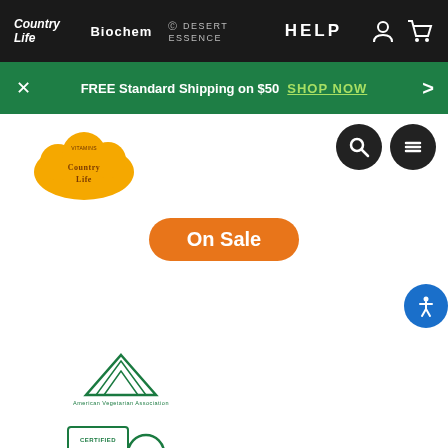Country Life | Biochem | Desert Essence | HELP
FREE Standard Shipping on $50 SHOP NOW
[Figure (logo): Country Life vitamins logo with golden cloud shape and brown text]
On Sale
[Figure (logo): American Vegetarian Association (AVA) logo - green triangular mountain design with text]
[Figure (logo): Certified Gluten Free logo with green G symbol and box]
[Figure (logo): Kosher certification K logo in green]